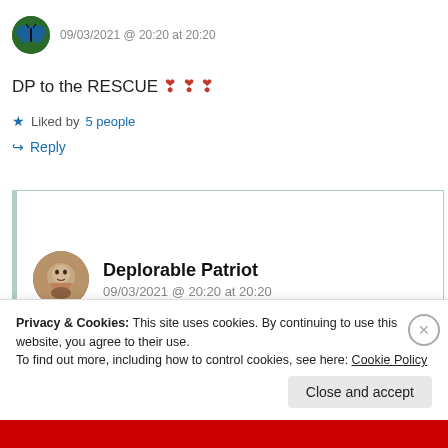09/03/2021 @ 20:20 at 20:20
DP to the RESCUE ❣ ❣ ❣
Liked by 5 people
Reply
Deplorable Patriot
09/03/2021 @ 20:20 at 20:20
Privacy & Cookies: This site uses cookies. By continuing to use this website, you agree to their use. To find out more, including how to control cookies, see here: Cookie Policy
Close and accept